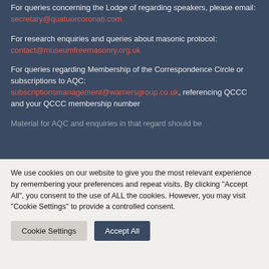For queries concerning the Lodge of regarding speakers, please email: secretary@quatuorcoronati.com
For research enquiries and queries about masonic protocol: contact@museumfreemasonry.org.uk
For queries regarding Membership of the Correspondence Circle or subscriptions to AQC: subscriptionsmanagement@warnersgroup.co.uk, referencing QCCC and your QCCC membership number
Material for AQC and enquiries in that regard should be...
We use cookies on our website to give you the most relevant experience by remembering your preferences and repeat visits. By clicking "Accept All", you consent to the use of ALL the cookies. However, you may visit "Cookie Settings" to provide a controlled consent.